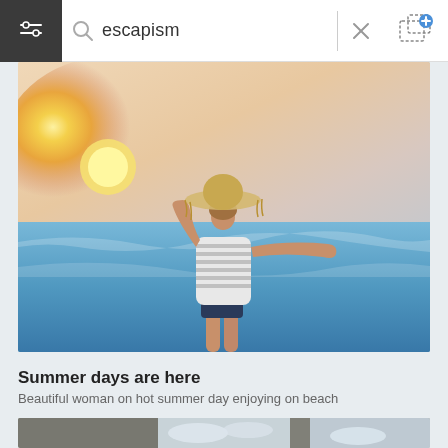escapism
[Figure (photo): Woman with arms outstretched wearing a straw hat, viewed from behind, standing at the beach with ocean and sunset in background. Summer days are here.]
Summer days are here
Beautiful woman on hot summer day enjoying on beach
[Figure (photo): Partial view of a second photo showing a window with cloudy sky outside]